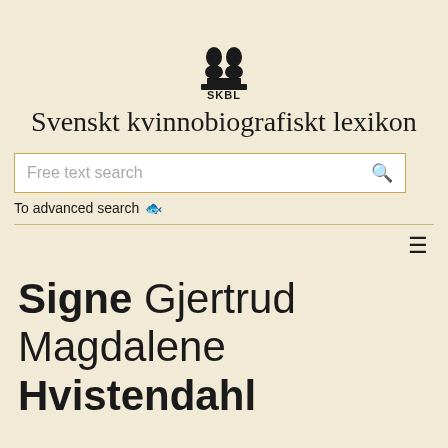[Figure (logo): SKBL logo — two silhouetted busts facing away from each other on a pedestal, with the text SKBL below]
Svenskt kvinnobiografiskt lexikon
Free text search
To advanced search →
≡
Signe Gjertrud Magdalene Hvistendahl